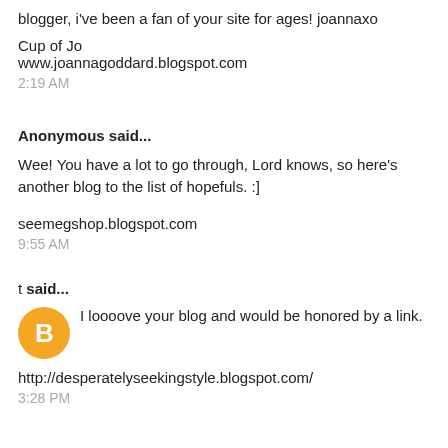blogger, i've been a fan of your site for ages! joannaxo
Cup of Jo
www.joannagoddard.blogspot.com
2:19 AM
Anonymous said...
Wee! You have a lot to go through, Lord knows, so here's another blog to the list of hopefuls. :]
seemegshop.blogspot.com
9:55 AM
t said...
[Figure (illustration): Orange Blogger avatar icon — orange circle with white stylized 'B' letter]
I loooove your blog and would be honored by a link.
http://desperatelyseekingstyle.blogspot.com/
3:28 PM